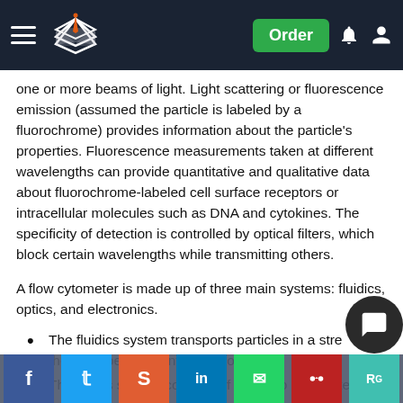Navigation bar with logo, hamburger menu, Order button, notification and account icons
one or more beams of light. Light scattering or fluorescence emission (assumed the particle is labeled by a fluorochrome) provides information about the particle's properties. Fluorescence measurements taken at different wavelengths can provide quantitative and qualitative data about fluorochrome-labeled cell surface receptors or intracellular molecules such as DNA and cytokines. The specificity of detection is controlled by optical filters, which block certain wavelengths while transmitting others.
A flow cytometer is made up of three main systems: fluidics, optics, and electronics.
The fluidics system transports particles in a stream to the laser beam for interrogation.
The optics system consists of lasers to illuminate the particles and optical filters to direct the resulting light signals to the appropriate